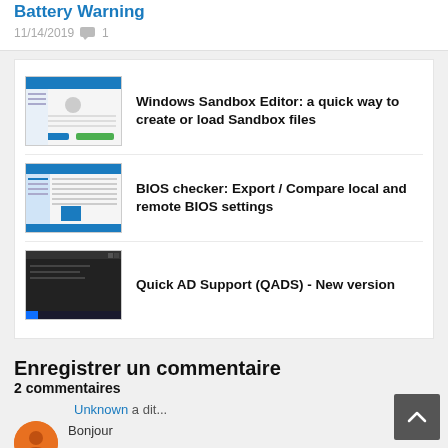Battery Warning
11/14/2019  💬 1
[Figure (screenshot): Thumbnail screenshot of Windows Sandbox Editor application showing a Windows UI with blue header and green button]
Windows Sandbox Editor: a quick way to create or load Sandbox files
[Figure (screenshot): Thumbnail screenshot of BIOS checker application showing a Windows UI with blue header and table rows]
BIOS checker: Export / Compare local and remote BIOS settings
[Figure (screenshot): Thumbnail screenshot of Quick AD Support (QADS) application with dark/black background]
Quick AD Support (QADS) - New version
Enregistrer un commentaire
2 commentaires
Unknown a dit...
Bonjour